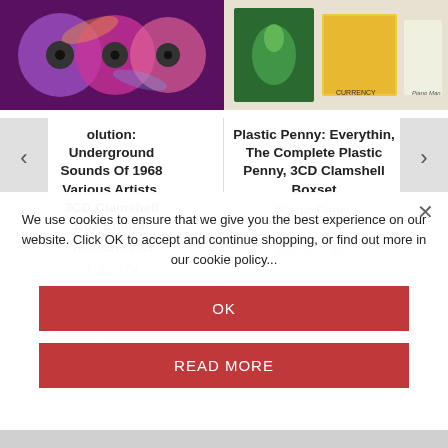[Figure (photo): Left: CDs with colorful psychedelic artwork]
[Figure (photo): Right: album/book covers with green tree and yellow cover]
olution: Underground Sounds Of 1968 Various Artists, 3CD Clamshell Box Edition
Various Artists
£22.99
Released October 7, 2022.
PRE-ORDER
Plastic Penny: Everythin, The Complete Plastic Penny, 3CD Clamshell Boxset
Plastic Penny
£22.99
ADD TO CART
We use cookies to ensure that we give you the best experience on our website. Click OK to accept and continue shopping, or find out more in our cookie policy...
OK
READ MORE